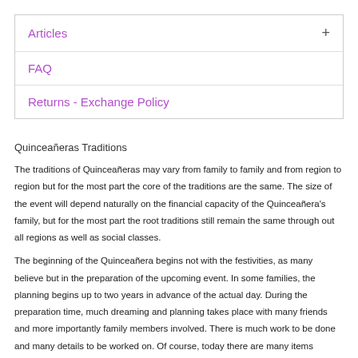Articles
FAQ
Returns - Exchange Policy
Quinceañeras Traditions
The traditions of Quinceañeras may vary from family to family and from region to region but for the most part the core of the traditions are the same. The size of the event will depend naturally on the financial capacity of the Quinceañera's family, but for the most part the root traditions still remain the same through out all regions as well as social classes.
The beginning of the Quinceañera begins not with the festivities, as many believe but in the preparation of the upcoming event. In some families, the planning begins up to two years in advance of the actual day. During the preparation time, much dreaming and planning takes place with many friends and more importantly family members involved. There is much work to be done and many details to be worked on. Of course, today there are many items available for purchase to relieve much of the work that used to go into preparing for such an event but then the originality and time with family is lost with the lightening of